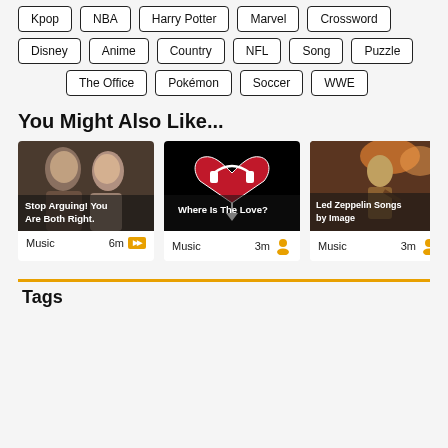Kpop
NBA
Harry Potter
Marvel
Crossword
Disney
Anime
Country
NFL
Song
Puzzle
The Office
Pokémon
Soccer
WWE
You Might Also Like...
[Figure (photo): Two people arguing face to face, with overlay text: Stop Arguing! You Are Both Right. Card meta: Music, 6m, badge icon]
[Figure (photo): Heart with headphones logo on black background, with overlay text: Where Is The Love? Card meta: Music, 3m, person icon]
[Figure (photo): Concert stage photo with performer, with overlay text: Led Zeppelin Songs by Image. Card meta: Music, 3m, icon]
Tags